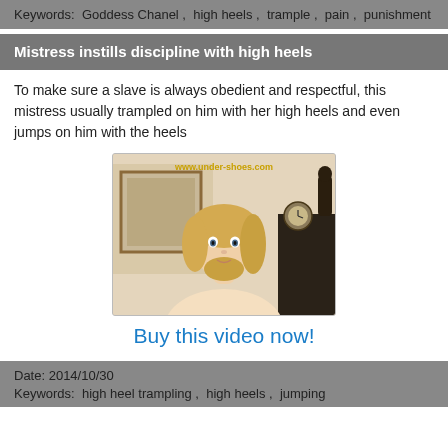Keywords:  Goddess Chanel ,  high heels ,  trample ,  pain ,  punishment
Mistress instills discipline with high heels
To make sure a slave is always obedient and respectful, this mistress usually trampled on him with her high heels and even jumps on him with the heels
[Figure (photo): Thumbnail of a blonde woman looking at the camera, with a framed picture and a dark wooden dresser with a clock in the background. Watermark text: www.under-shoes.com]
Buy this video now!
Date: 2014/10/30
Keywords:  high heel trampling ,  high heels ,  jumping